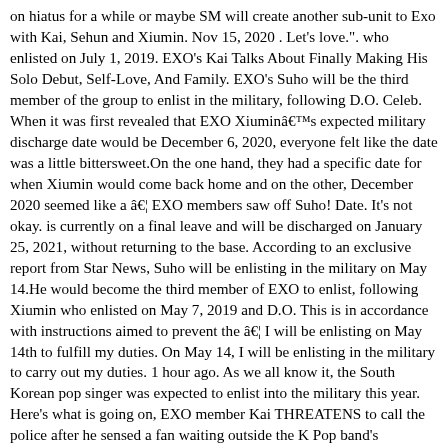on hiatus for a while or maybe SM will create another sub-unit to Exo with Kai, Sehun and Xiumin. Nov 15, 2020 . Let's love.". who enlisted on July 1, 2019. EXO's Kai Talks About Finally Making His Solo Debut, Self-Love, And Family. EXO's Suho will be the third member of the group to enlist in the military, following D.O. Celeb. When it was first revealed that EXO Xiumin's expected military discharge date would be December 6, 2020, everyone felt like the date was a little bittersweet.On the one hand, they had a specific date for when Xiumin would come back home and on the other, December 2020 seemed like a â¦ EXO members saw off Suho! Date. It's not okay. is currently on a final leave and will be discharged on January 25, 2021, without returning to the base. According to an exclusive report from Star News, Suho will be enlisting in the military on May 14.He would become the third member of EXO to enlist, following Xiumin who enlisted on May 7, 2019 and D.O. This is in accordance with instructions aimed to prevent the â¦ I will be enlisting on May 14th to fulfill my duties. On May 14, I will be enlisting in the military to carry out my duties. 1 hour ago. As we all know it, the South Korean pop singer was expected to enlist into the military this year. Here's what is going on, EXO member Kai THREATENS to call the police after he sensed a fan waiting outside the K Pop band's residence, BTS beats BLACKPINK, EXO to nab Album of the Year at Mnet Asian Music Awards 2019; Check out WINNERS list here, EXO member Kai REVEALS Chanyeol has 'reached another level of funny'; Deets Inside, BTS member Jin talks about military enlistment amidst Map of the Soul: 7 release; REVEALS nothing is confirmed. Here you can see in individual pages every Music Video released by a certain group. the anticipated date of discharge — communicate this